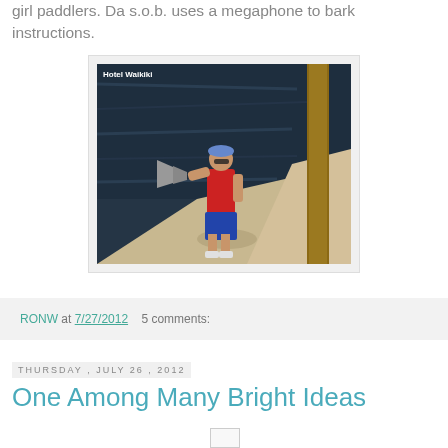girl paddlers. Da s.o.b. uses a megaphone to bark instructions.
[Figure (photo): Man in red tank top and blue shorts holding a megaphone, standing on a concrete path next to dark water and a palm tree. Photo watermarked 'Hotel Waikiki'.]
RONW at 7/27/2012    5 comments:
Thursday, July 26, 2012
One Among Many Bright Ideas